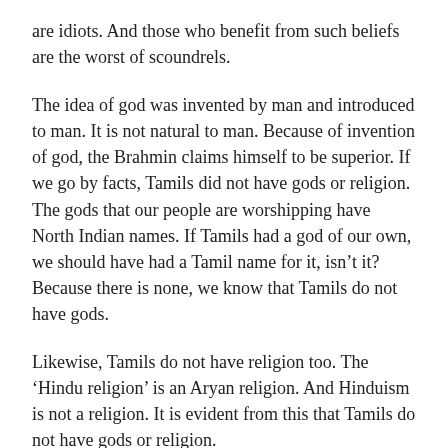are idiots. And those who benefit from such beliefs are the worst of scoundrels.
The idea of god was invented by man and introduced to man. It is not natural to man. Because of invention of god, the Brahmin claims himself to be superior. If we go by facts, Tamils did not have gods or religion. The gods that our people are worshipping have North Indian names. If Tamils had a god of our own, we should have had a Tamil name for it, isn’t it? Because there is none, we know that Tamils do not have gods.
Likewise, Tamils do not have religion too. The ‘Hindu religion’ is an Aryan religion. And Hinduism is not a religion. It is evident from this that Tamils do not have gods or religion.